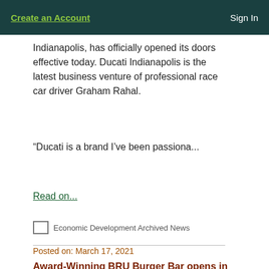Create an Account    Sign In
Indianapolis, has officially opened its doors effective today. Ducati Indianapolis is the latest business venture of professional race car driver Graham Rahal.
“Ducati is a brand I’ve been passiona...
Read on...
Economic Development Archived News
Posted on: March 17, 2021
Award-Winning BRU Burger Bar opens in Brownsburg at the Green Street Depot
[Figure (photo): Photo of a brick building exterior with two large windows, appearing to be the Green Street Depot storefront.]